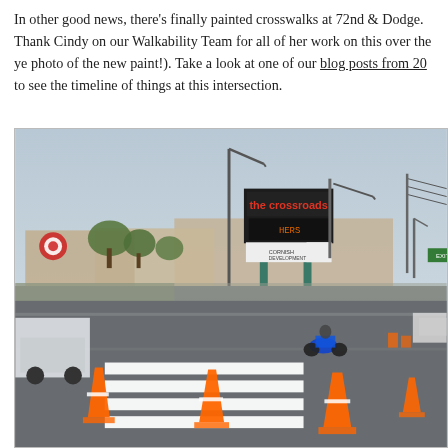In other good news, there's finally painted crosswalks at 72nd & Dodge. Thank Cindy on our Walkability Team for all of her work on this over the years (and for the photo of the new paint!). Take a look at one of our blog posts from 20 to see the timeline of things at this intersection.
[Figure (photo): Photograph of a newly painted crosswalk at 72nd & Dodge intersection. Orange traffic cones are placed around the fresh white crosswalk stripes. A blue motorcycle is visible in the intersection. In the background is 'the crossroads' shopping center sign with a Target store and parking lot visible to the left. Street lights and power lines are visible. The sky is overcast.]